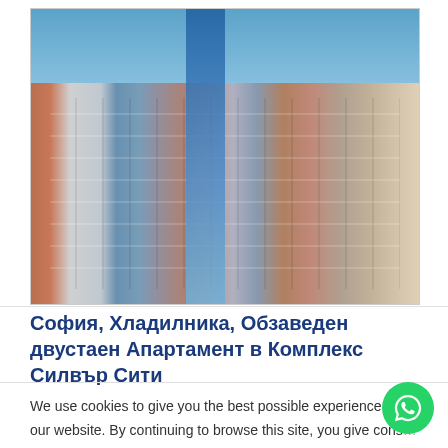[Figure (photo): Exterior photo of a large modern mixed-use building complex with red brick and glass tower facade against a clear blue sky — Silver City Complex in Sofia, Bulgaria]
София, Хладилника, Обзаведен двустаен Апартамент в Комплекс Силвър Сити
We use cookies to give you the best possible experience on our website. By continuing to browse this site, you give cons... cookies to be used